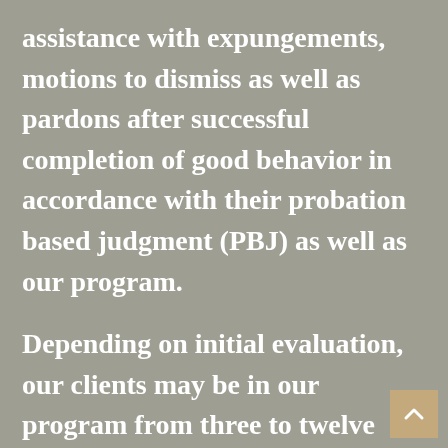assistance with expungements, motions to dismiss as well as pardons after successful completion of good behavior in accordance with their probation based judgment (PBJ) as well as our program.
Depending on initial evaluation, our clients may be in our program from three to twelve months. Our services will include coordination with social services, mental and physical rehabilitation services in addition to spiritual awakening if requested and/or guidance. We plan to